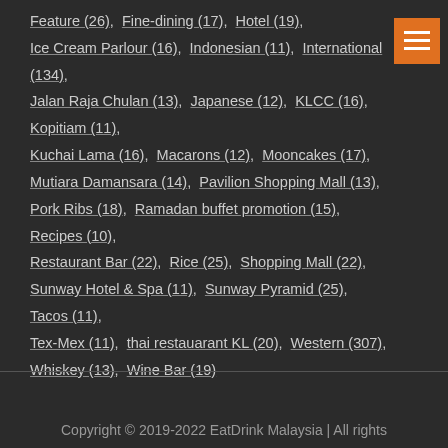Feature (26), Fine-dining (17), Hotel (19), Ice Cream Parlour (16), Indonesian (11), International (134), Jalan Raja Chulan (13), Japanese (12), KLCC (16), Kopitiam (11), Kuchai Lama (16), Macarons (12), Mooncakes (17), Mutiara Damansara (14), Pavilion Shopping Mall (13), Pork Ribs (18), Ramadan buffet promotion (15), Recipes (10), Restaurant Bar (22), Rice (25), Shopping Mall (22), Sunway Hotel & Spa (11), Sunway Pyramid (25), Tacos (11), Tex-Mex (11), thai restauarant KL (20), Western (307), Whiskey (13), Wine Bar (19)
Copyright © 2019-2022 EatDrink Malaysia | All rights